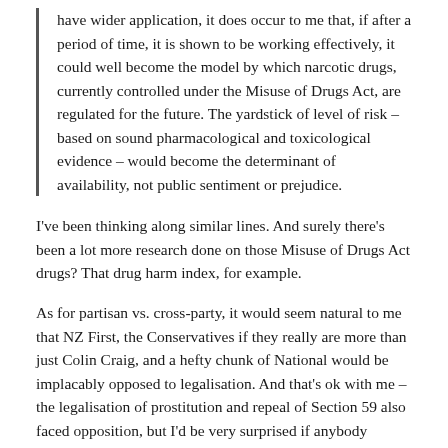have wider application, it does occur to me that, if after a period of time, it is shown to be working effectively, it could well become the model by which narcotic drugs, currently controlled under the Misuse of Drugs Act, are regulated for the future. The yardstick of level of risk – based on sound pharmacological and toxicological evidence – would become the determinant of availability, not public sentiment or prejudice.
I've been thinking along similar lines. And surely there's been a lot more research done on those Misuse of Drugs Act drugs? That drug harm index, for example.
As for partisan vs. cross-party, it would seem natural to me that NZ First, the Conservatives if they really are more than just Colin Craig, and a hefty chunk of National would be implacably opposed to legalisation. And that's ok with me – the legalisation of prostitution and repeal of Section 59 also faced opposition, but I'd be very surprised if anybody seriously thought those laws could be rolled back (although, of course, viewing these